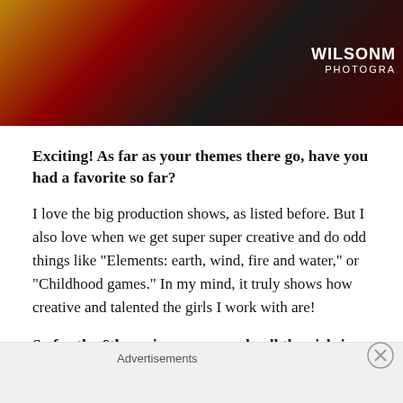[Figure (photo): Cropped photo of people in colorful costumes, with a WILSONM... PHOTOGRA watermark in the top right corner]
Exciting! As far as your themes there go, have you had a favorite so far?
I love the big production shows, as listed before. But I also love when we get super super creative and do odd things like "Elements: earth, wind, fire and water," or "Childhood games." In my mind, it truly shows how creative and talented the girls I work with are!
So for the 6th anniversary, nearly all the girls in your revolving cast will be there: you, Pixie, Monet X
Advertisements